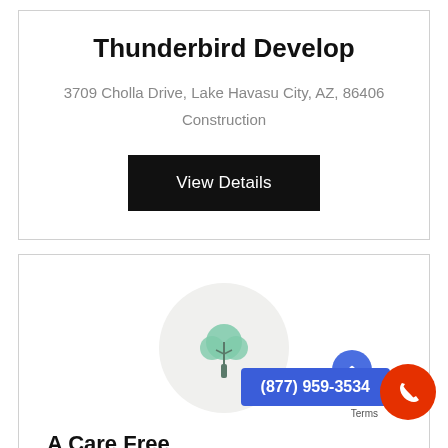Thunderbird Develop
3709 Cholla Drive, Lake Havasu City, AZ, 86406
Construction
View Details
[Figure (illustration): Tree icon inside a light gray circle]
A Care Free
(877) 959-3534